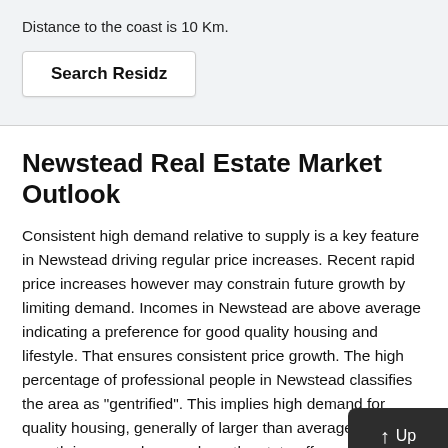Distance to the coast is 10 Km.
Search Residz
Newstead Real Estate Market Outlook
Consistent high demand relative to supply is a key feature in Newstead driving regular price increases. Recent rapid price increases however may constrain future growth by limiting demand. Incomes in Newstead are above average indicating a preference for good quality housing and lifestyle. That ensures consistent price growth. The high percentage of professional people in Newstead classifies the area as "gentrified". This implies high demand for quality housing, generally of larger than average... Price growth is ensured even where the state aff...